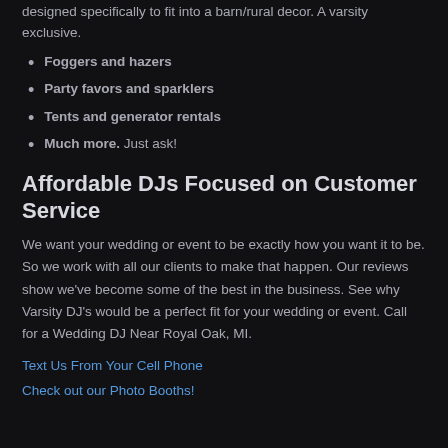designed specifically to fit into a barn/rural decor. A varsity exclusive.
Foggers and hazers
Party favors and sparklers
Tents and generator rentals
Much more. Just ask!
Affordable DJs Focused on Customer Service
We want your wedding or event to be exactly how you want it to be. So we work with all our clients to make that happen. Our reviews show we've become some of the best in the business. See why Varsity DJ's would be a perfect fit for your wedding or event. Call for a Wedding DJ Near Royal Oak, MI.
Text Us From Your Cell Phone
Check out our Photo Booths!